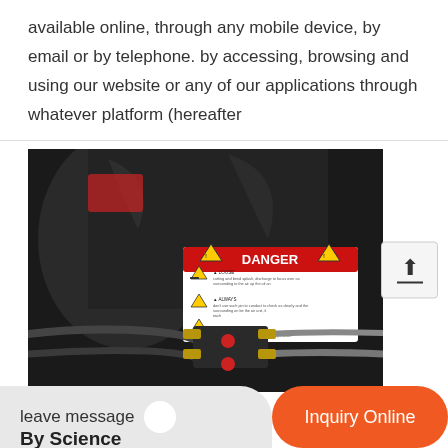available online, through any mobile device, by email or by telephone. by accessing, browsing and using our website or any of our applications through whatever platform (hereafter
[Figure (photo): Industrial air compressor tank with a DANGER warning label showing hazard symbols and text, with hoses and fittings connected at the bottom]
leave message
Inquiry Online
By Science